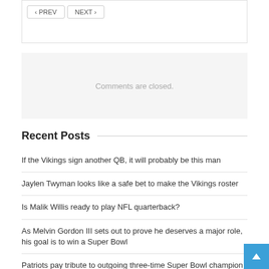< PREV | NEXT >
Comments are closed.
Recent Posts
If the Vikings sign another QB, it will probably be this man
Jaylen Twyman looks like a safe bet to make the Vikings roster
Is Malik Willis ready to play NFL quarterback?
As Melvin Gordon III sets out to prove he deserves a major role, his goal is to win a Super Bowl
Patriots pay tribute to outgoing three-time Super Bowl champion James White